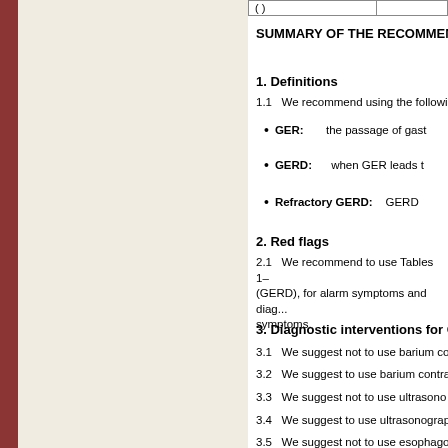| ( ) |  |
| --- | --- |
SUMMARY OF THE RECOMMEND...
1. Definitions
1.1   We recommend using the followi...
GER:        the passage of gast...
GERD:       when GER leads t...
Refractory GERD:        GERD...
2. Red flags
2.1   We recommend to use Tables 1– (GERD), for alarm symptoms and diag... symptoms.
3. Diagnostic interventions for GER...
3.1   We suggest not to use barium co...
3.2   We suggest to use barium contra...
3.3   We suggest not to use ultrasono...
3.4   We suggest to use ultrasonograp...
3.5   We suggest not to use esophago...